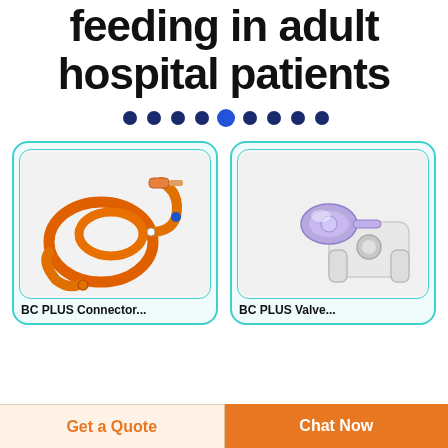feeding in adult hospital patients
[Figure (illustration): Dot/pagination row with 9 dots, the 5th highlighted in brighter blue, others in dark navy blue]
[Figure (photo): Orange enteral feeding tube set coiled on white background - medical product photo]
[Figure (photo): Blue/purple Leur-lock connector with white plastic clip/mount - medical product photo]
BC PLUS Connector...
BC PLUS Valve...
Get a Quote
Chat Now